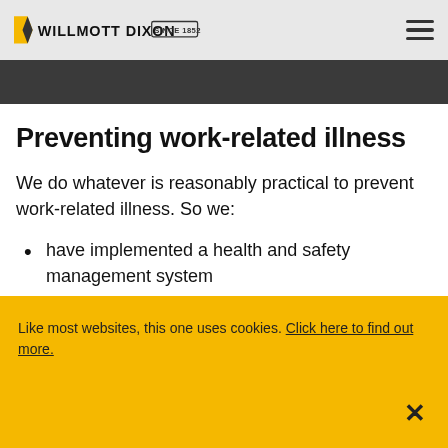Willmott Dixon Since 1852
Preventing work-related illness
We do whatever is reasonably practical to prevent work-related illness. So we:
have implemented a health and safety management system
assess the risks associated with a
Like most websites, this one uses cookies. Click here to find out more.